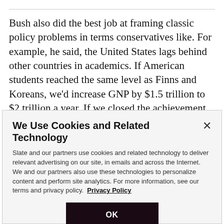Bush also did the best job at framing classic policy problems in terms conservatives like. For example, he said, the United States lags behind other countries in academics. If American students reached the same level as Finns and Koreans, we'd increase GNP by $1.5 trillion to $2 trillion a year. If we closed the achievement gap within the United States, we'd save $400 billion. In
We Use Cookies and Related Technology
Slate and our partners use cookies and related technology to deliver relevant advertising on our site, in emails and across the Internet. We and our partners also use these technologies to personalize content and perform site analytics. For more information, see our terms and privacy policy. Privacy Policy